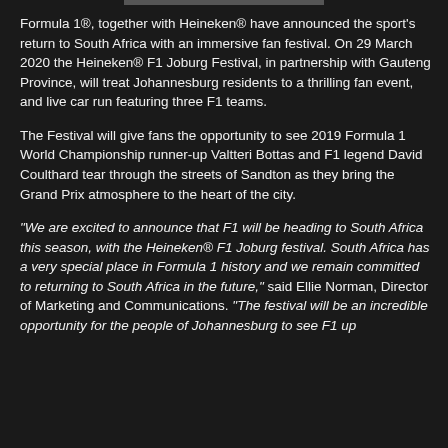Formula 1®, together with Heineken® have announced the sport's return to South Africa with an immersive fan festival. On 29 March 2020 the Heineken® F1 Joburg Festival, in partnership with Gauteng Province, will treat Johannesburg residents to a thrilling fan event, and live car run featuring three F1 teams.
The Festival will give fans the opportunity to see 2019 Formula 1 World Championship runner-up Valtteri Bottas and F1 legend David Coulthard tear through the streets of Sandton as they bring the Grand Prix atmosphere to the heart of the city.
"We are excited to announce that F1 will be heading to South Africa this season, with the Heineken® F1 Joburg festival. South Africa has a very special place in Formula 1 history and we remain committed to returning to South Africa in the future," said Ellie Norman, Director of Marketing and Communications. "The festival will be an incredible opportunity for the people of Johannesburg to see F1 up close and personal, with live coverage of our iconic racing cars."